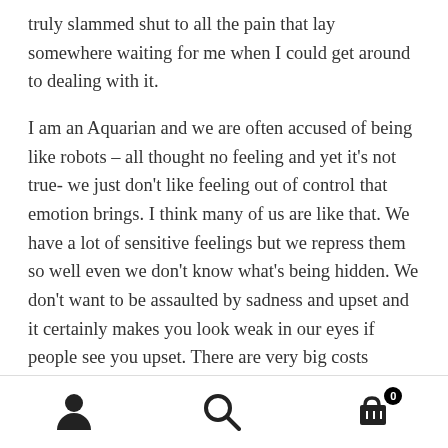truly slammed shut to all the pain that lay somewhere waiting for me when I could get around to dealing with it.

I am an Aquarian and we are often accused of being like robots – all thought no feeling and yet it's not true- we just don't like feeling out of control that emotion brings. I think many of us are like that. We have a lot of sensitive feelings but we repress them so well even we don't know what's being hidden. We don't want to be assaulted by sadness and upset and it certainly makes you look weak in our eyes if people see you upset. There are very big costs however involved and you probably can look in the mirror of your life to see them . Our health our relationships our children our work all get affected and in my case my creativity was non-existent before I did take the time to
[Figure (infographic): Bottom navigation bar with three icons: a person/user icon on the left, a search/magnifying glass icon in the center, and a shopping cart icon on the right with a badge showing '0'.]